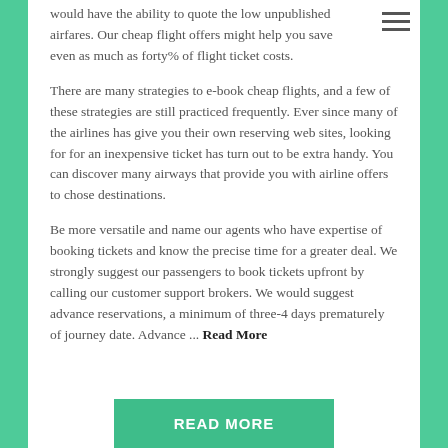would have the ability to quote the low unpublished airfares. Our cheap flight offers might help you save even as much as forty% of flight ticket costs.
There are many strategies to e-book cheap flights, and a few of these strategies are still practiced frequently. Ever since many of the airlines has give you their own reserving web sites, looking for for an inexpensive ticket has turn out to be extra handy. You can discover many airways that provide you with airline offers to chose destinations.
Be more versatile and name our agents who have expertise of booking tickets and know the precise time for a greater deal. We strongly suggest our passengers to book tickets upfront by calling our customer support brokers. We would suggest advance reservations, a minimum of three-4 days prematurely of journey date. Advance ... Read More
READ MORE